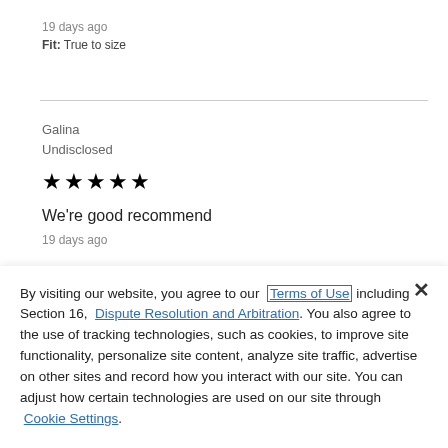19 days ago
Fit: True to size
Galina
Undisclosed
★★★★★
We're good recommend
19 days ago
By visiting our website, you agree to our Terms of Use including Section 16, Dispute Resolution and Arbitration. You also agree to the use of tracking technologies, such as cookies, to improve site functionality, personalize site content, analyze site traffic, advertise on other sites and record how you interact with our site. You can adjust how certain technologies are used on our site through Cookie Settings.